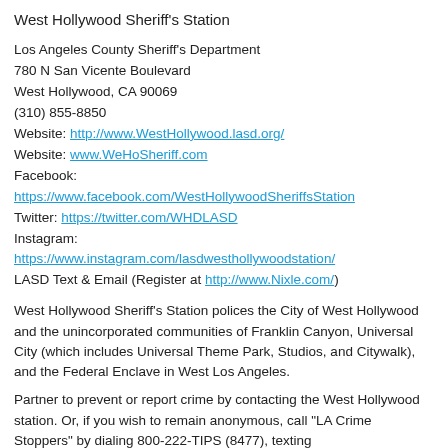West Hollywood Sheriff's Station
Los Angeles County Sheriff's Department
780 N San Vicente Boulevard
West Hollywood, CA 90069
(310) 855-8850
Website: http://www.WestHollywood.lasd.org/
Website: www.WeHoSheriff.com
Facebook: https://www.facebook.com/WestHollywoodSheriffsStation
Twitter: https://twitter.com/WHDLASD
Instagram: https://www.instagram.com/lasdwesthollywoodstation/
LASD Text & Email (Register at http://www.Nixle.com/)
West Hollywood Sheriff's Station polices the City of West Hollywood and the unincorporated communities of Franklin Canyon, Universal City (which includes Universal Theme Park, Studios, and Citywalk), and the Federal Enclave in West Los Angeles.
Partner to prevent or report crime by contacting the West Hollywood station. Or, if you wish to remain anonymous, call "LA Crime Stoppers" by dialing 800-222-TIPS (8477), texting